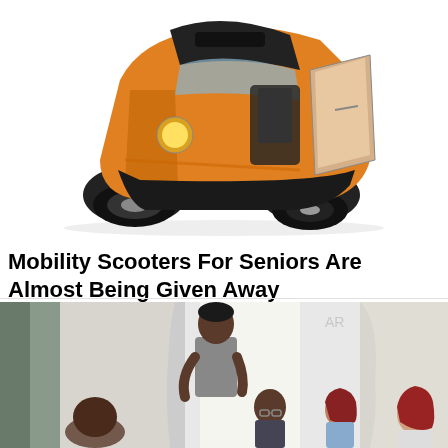[Figure (photo): Orange and black electric mobility scooter/small vehicle with open doors, photographed on white background]
Mobility Scooters For Seniors Are Almost Being Given Away
Mobility Scooters | Search Ads | Sponsored
[Figure (photo): Group of people in a bright room - a standing man in grey t-shirt, and seated people including a man with glasses and two women with reddish hair, appearing to be in conversation]